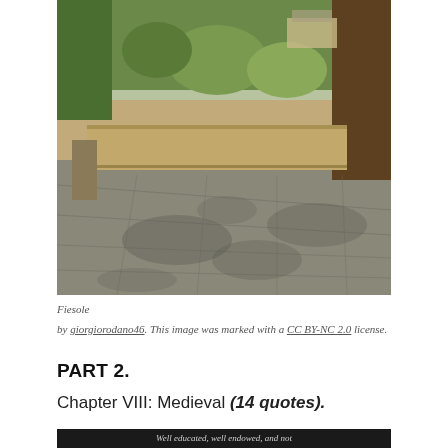[Figure (photo): Outdoor photo of a stone-paved plaza or path in Fiesole, Italy, with lush greenery, shrubs, trees, and stone walls under bright sunlight creating dappled shadows.]
Fiesole
by giorgiorodano46. This image was marked with a CC BY-NC 2.0 license.
PART 2.
Chapter VIII: Medieval (14 quotes).
[Figure (photo): Dark-background image with text reading 'Well educated, well endowed, and not']